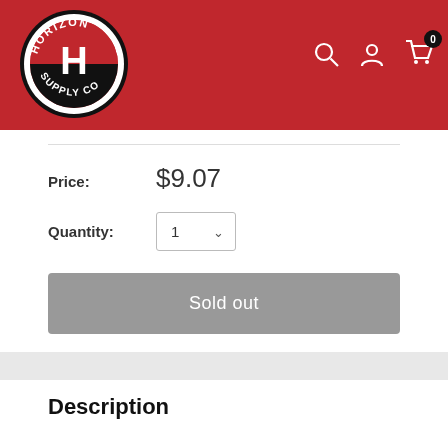[Figure (logo): Horizon Supply Co circular logo — black outer ring with white text 'HORIZON' on top arc and 'SUPPLY CO' on bottom arc, red center with white letter H, on red background header]
Price: $9.07
Quantity: 1
Sold out
Description